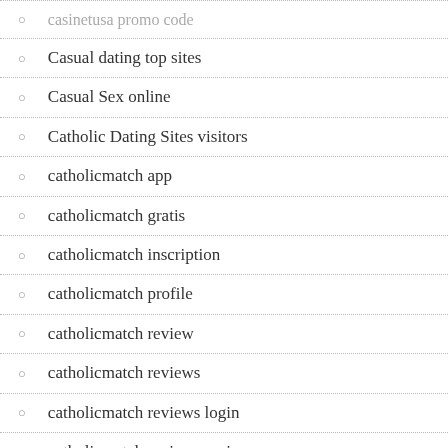casinetusa promo code
Casual dating top sites
Casual Sex online
Catholic Dating Sites visitors
catholicmatch app
catholicmatch gratis
catholicmatch inscription
catholicmatch profile
catholicmatch review
catholicmatch reviews
catholicmatch reviews login
catholicmatch reviews review